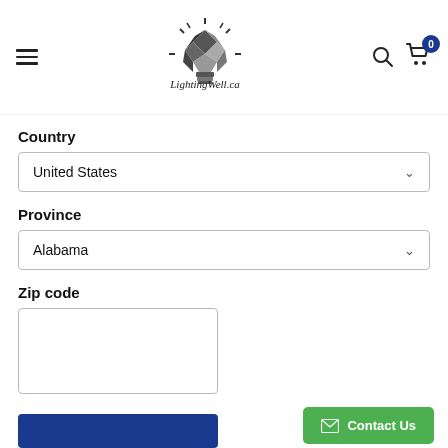[Figure (logo): LightingWell.ca logo: geometric diamond-faceted lightbulb in black and white with decorative script text beneath]
Country
United States
Province
Alabama
Zip code
Contact Us